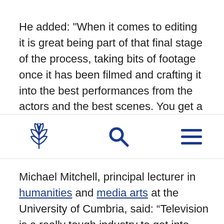He added: "When it comes to editing it is great being part of that final stage of the process, taking bits of footage once it has been filmed and crafting it into the best performances from the actors and the best scenes. You get a real chance, before it goes out on screen, to put your
[Figure (other): Website navigation bar with a floral/leaf logo on the left, a search icon in the center, and a hamburger menu icon on the right]
Michael Mitchell, principal lecturer in humanities and media arts at the University of Cumbria, said: “Television is a really tough industry to get into and you need to be quite resilient. Both Amon and Tom have shown perseverance and resilience and been rewarded for that.